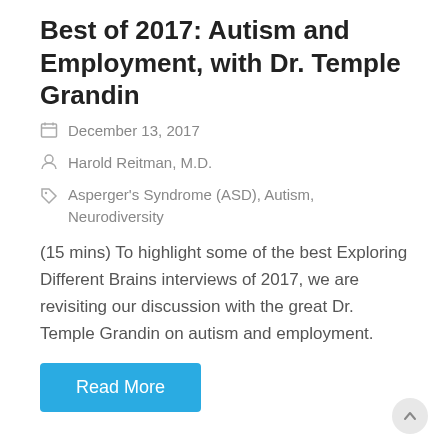Best of 2017: Autism and Employment, with Dr. Temple Grandin
December 13, 2017
Harold Reitman, M.D.
Asperger's Syndrome (ASD), Autism, Neurodiversity
(15 mins) To highlight some of the best Exploring Different Brains interviews of 2017, we are revisiting our discussion with the great Dr. Temple Grandin on autism and employment.
Read More